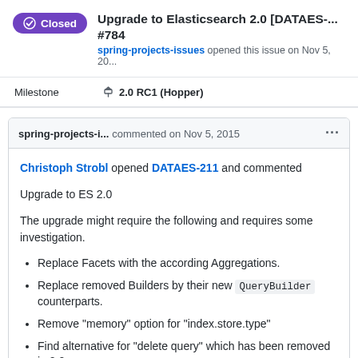Upgrade to Elasticsearch 2.0 [DATAES-... #784
spring-projects-issues opened this issue on Nov 5, 20...
Milestone   2.0 RC1 (Hopper)
spring-projects-i... commented on Nov 5, 2015
Christoph Strobl opened DATAES-211 and commented

Upgrade to ES 2.0

The upgrade might require the following and requires some investigation.
Replace Facets with the according Aggregations.
Replace removed Builders by their new QueryBuilder counterparts.
Remove "memory" option for "index.store.type"
Find alternative for "delete query" which has been removed in 2.0